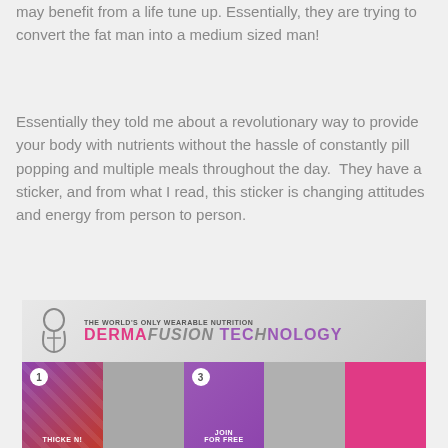may benefit from a life tune up. Essentially, they are trying to convert the fat man into a medium sized man!
Essentially they told me about a revolutionary way to provide your body with nutrients without the hassle of constantly pill popping and multiple meals throughout the day.  They have a sticker, and from what I read, this sticker is changing attitudes and energy from person to person.
[Figure (infographic): Infographic showing 'The World's Only Wearable Nutrition - DermaFusion Technology' banner with logo and colored tiles showing steps numbered 1 and 3 with labels including 'FOR FREE']